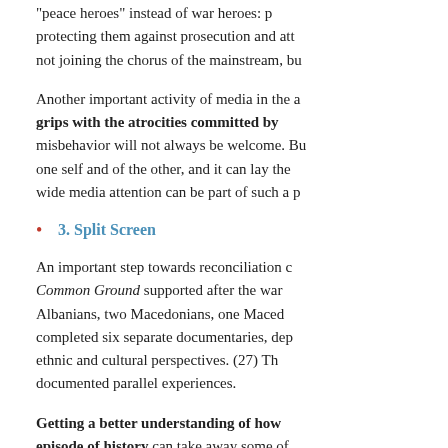“peace heroes” instead of war heroes: p protecting them against prosecution and att not joining the chorus of the mainstream, bu
Another important activity of media in the a grips with the atrocities committed by misbehavior will not always be welcome. Bu one self and of the other, and it can lay the wide media attention can be part of such a p
3. Split Screen
An important step towards reconciliation c Common Ground supported after the war Albanians, two Macedonians, one Maced completed six separate documentaries, dep ethnic and cultural perspectives. (27) Th documented parallel experiences.
Getting a better understanding of how episode of history can take away some of